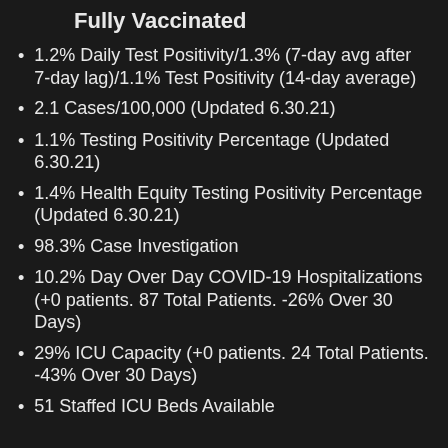Fully Vaccinated
1.2% Daily Test Positivity/1.3% (7-day avg after 7-day lag)/1.1% Test Positivity (14-day average)
2.1 Cases/100,000 (Updated 6.30.21)
1.1% Testing Positivity Percentage (Updated 6.30.21)
1.4% Health Equity Testing Positivity Percentage (Updated 6.30.21)
98.3% Case Investigation
10.2% Day Over Day COVID-19 Hospitalizations (+0 patients. 87 Total Patients. -26% Over 30 Days)
29% ICU Capacity (+0 patients. 24 Total Patients. -43% Over 30 Days)
51 Staffed ICU Beds Available